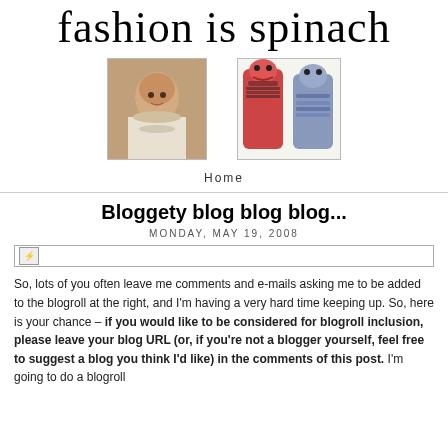fashion is spinach
[Figure (photo): Two header images: left shows a woman with short hair wearing white top and pearl necklace; right shows two stuffed doll figures with bearded and patterned appearances]
Home
Bloggety blog blog blog...
MONDAY, MAY 19, 2008
[Figure (photo): Broken image placeholder]
So, lots of you often leave me comments and e-mails asking me to be added to the blogroll at the right, and I'm having a very hard time keeping up. So, here is your chance – if you would like to be considered for blogroll inclusion, please leave your blog URL (or, if you're not a blogger yourself, feel free to suggest a blog you think I'd like) in the comments of this post. I'm going to do a blogroll